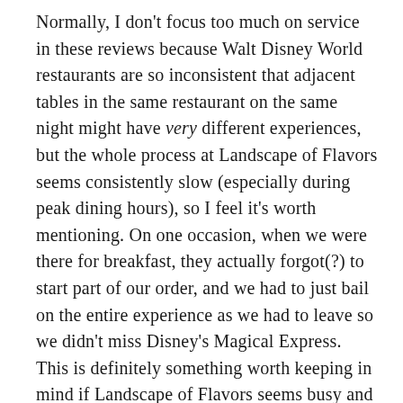Normally, I don't focus too much on service in these reviews because Walt Disney World restaurants are so inconsistent that adjacent tables in the same restaurant on the same night might have very different experiences, but the whole process at Landscape of Flavors seems consistently slow (especially during peak dining hours), so I feel it's worth mentioning. On one occasion, when we were there for breakfast, they actually forgot(?) to start part of our order, and we had to just bail on the entire experience as we had to leave so we didn't miss Disney's Magical Express. This is definitely something worth keeping in mind if Landscape of Flavors seems busy and your family wants things from different ordering bays. Prepare to pay and eat separately, or eat together with the expectation that some of you will be eating cold food.